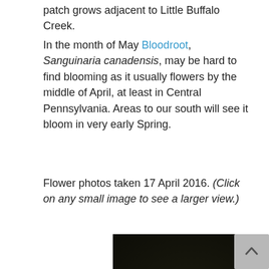patch grows adjacent to Little Buffalo Creek.
In the month of May Bloodroot, Sanguinaria canadensis, may be hard to find blooming as it usually flowers by the middle of April, at least in Central Pennsylvania. Areas to our south will see it bloom in very early Spring.
Flower photos taken 17 April 2016. (Click on any small image to see a larger view.)
[Figure (photo): Photograph of Bloodroot (Sanguinaria canadensis) flowers with white petals growing among leaf litter on a forest floor, taken 17 April 2016.]